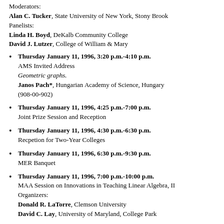Moderators:
Alan C. Tucker, State University of New York, Stony Brook
Panelists:
Linda H. Boyd, DeKalb Community College
David J. Lutzer, College of William & Mary
Thursday January 11, 1996, 3:20 p.m.-4:10 p.m.
AMS Invited Address
Geometric graphs.
Janos Pach*, Hungarian Academy of Science, Hungary
(908-00-902)
Thursday January 11, 1996, 4:25 p.m.-7:00 p.m.
Joint Prize Session and Reception
Thursday January 11, 1996, 4:30 p.m.-6:30 p.m.
Recpetion for Two-Year Colleges
Thursday January 11, 1996, 6:30 p.m.-9:30 p.m.
MER Banquet
Thursday January 11, 1996, 7:00 p.m.-10:00 p.m.
MAA Session on Innovations in Teaching Linear Algebra, II
Organizers:
Donald R. LaTorre, Clemson University
David C. Lay, University of Maryland, College Park